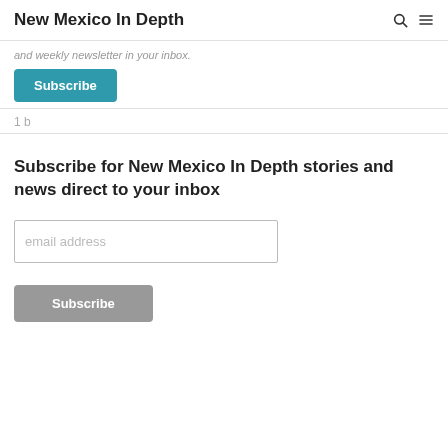New Mexico In Depth
and weekly newsletter in your inbox.
Subscribe
1 b
Subscribe for New Mexico In Depth stories and news direct to your inbox
email address
Subscribe